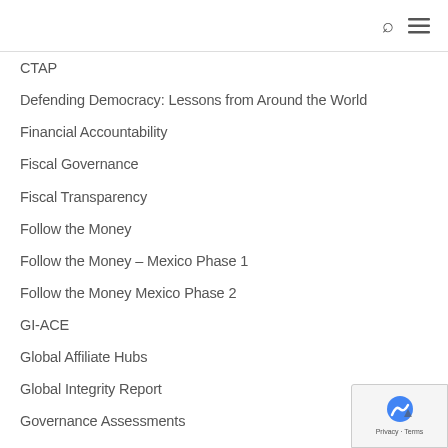search and menu icons
CTAP
Defending Democracy: Lessons from Around the World
Financial Accountability
Fiscal Governance
Fiscal Transparency
Follow the Money
Follow the Money – Mexico Phase 1
Follow the Money Mexico Phase 2
GI-ACE
Global Affiliate Hubs
Global Integrity Report
Governance Assessments
Integrity and Anti-Corruption
kleptocracy
Learning to Open Government
Making All Voices Count